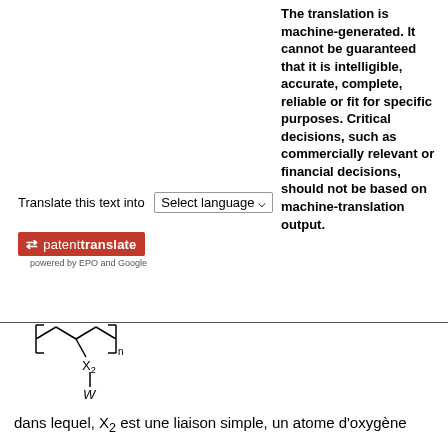Translate this text into [Select language ▼]
[Figure (logo): patenttranslate logo — red background with arrow icon, text 'patenttranslate', subtitle 'powered by EPO and Google']
The translation is machine-generated. It cannot be guaranteed that it is intelligible, accurate, complete, reliable or fit for specific purposes. Critical decisions, such as commercially relevant or financial decisions, should not be based on machine-translation output.
[Figure (engineering-diagram): Chemical structure diagram showing a polymer chain with substituents X2 and W, where X2 is connected below the chain and W is further below X2.]
dans lequel, X2 est une liaison simple, un atome d'oxygène